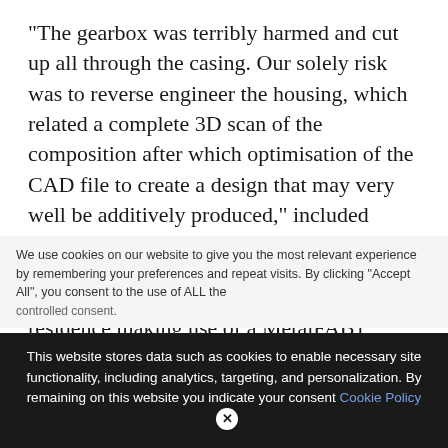“The gearbox was terribly harmed and cut up all through the casing. Our solely risk was to reverse engineer the housing, which related a complete 3D scan of the composition after which optimisation of the CAD file to create a design that may very well be additively produced,” included Hansen.
The gearbox housing was developed in-residence making use of a MetalFAB1 system
We use cookies on our website to give you the most relevant experience by remembering your preferences and repeat visits. By clicking “Accept All”, you consent to the use of ALL the
controlled consent.
This website stores data such as cookies to enable necessary site functionality, including analytics, targeting, and personalization. By remaining on this website you indicate your consent Cookie Policy ✕